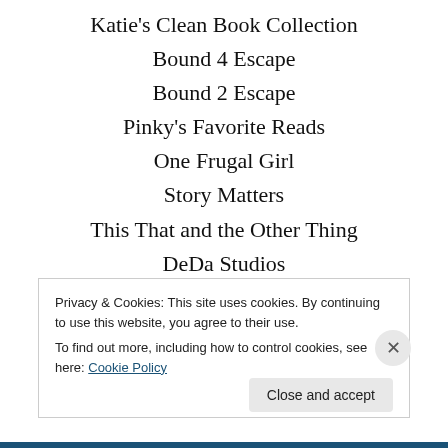Katie's Clean Book Collection
Bound 4 Escape
Bound 2 Escape
Pinky's Favorite Reads
One Frugal Girl
Story Matters
This That and the Other Thing
DeDa Studios
Nighttime Reading Center
So, I Read This Book Today
A Madison Mom
Privacy & Cookies: This site uses cookies. By continuing to use this website, you agree to their use.
To find out more, including how to control cookies, see here: Cookie Policy
Close and accept